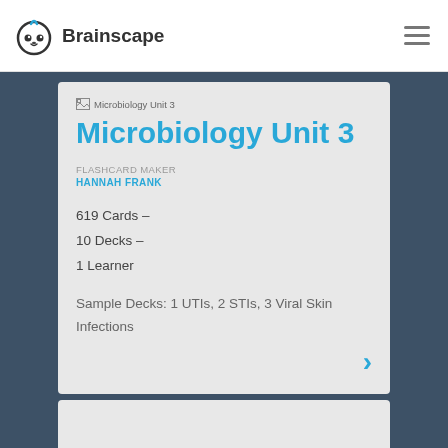Brainscape
Microbiology Unit 3
FLASHCARD MAKER
HANNAH FRANK
619 Cards –
10 Decks –
1 Learner
Sample Decks: 1 UTIs, 2 STIs, 3 Viral Skin Infections